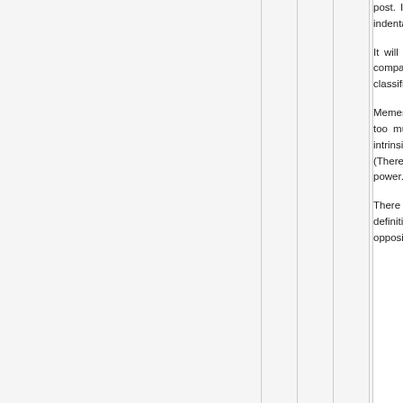post. It will be easier to reply to Jim's blogpost so as not to start the indentation.
It will take me some time to think general, explanations based on m compared to some sharper de biological notion of Jewishness classifications such as genetics, r nationality).
Memes in this case are an after t result of an evolutionary proces gives too much freedom to pic when Moldbug treats progressivis define it intrinsically, independen roots, so as to try to capture teleological fallacy. (There is still takes the currently most powerf mechanism as pursuit of power. B the wiggle room for "fitting an el definition.)
There is also a lot more free particular movements when usin By your definition of JudaismS operated by Jews, there are man go in the opposite direction to t that Kmac theorizes about. Exam